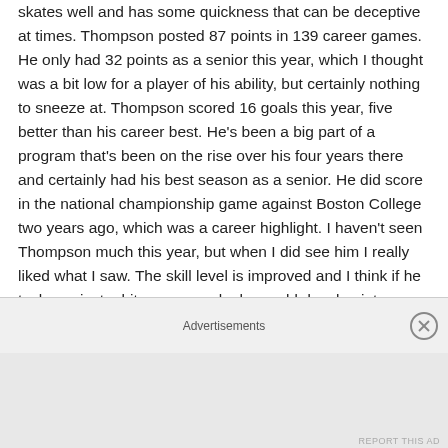skates well and has some quickness that can be deceptive at times. Thompson posted 87 points in 139 career games. He only had 32 points as a senior this year, which I thought was a bit low for a player of his ability, but certainly nothing to sneeze at. Thompson scored 16 goals this year, five better than his career best. He's been a big part of a program that's been on the rise over his four years there and certainly had his best season as a senior. He did score in the national championship game against Boston College two years ago, which was a career highlight. I haven't seen Thompson much this year, but when I did see him I really liked what I saw. The skill level is improved and I think if he tacks on just a bit more muscle, he could develop into a bottom-of-the-lineup
Advertisements